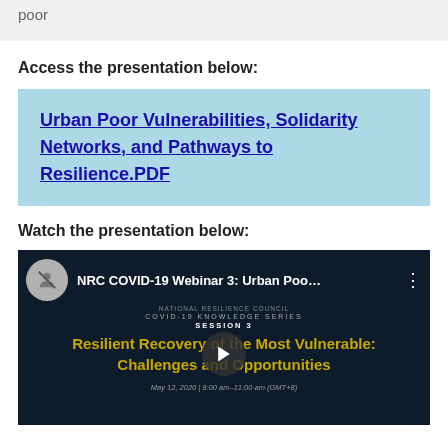poor
Access the presentation below:
Urban Poor Vulnerabilities, Solidarity Networks, and Pathways to Resilience.PDF
Watch the presentation below:
[Figure (screenshot): YouTube video thumbnail showing NRC COVID-19 Webinar 3: Urban Poo... with title 'Resilient Recovery of the Most Vulnerable: Challenges and Opportunities', Session 3, COVID-19 Knowledge Series, May 12, 2020 | 9:00 am-11:00 am (GMT+8)]